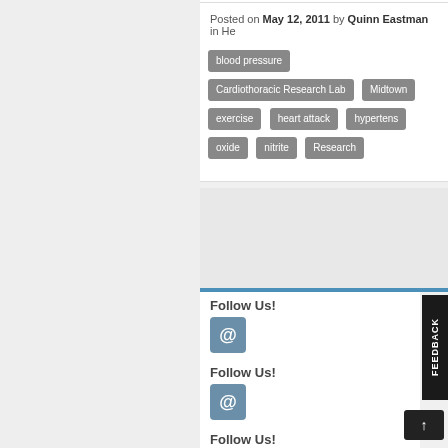Posted on May 12, 2011 by Quinn Eastman in He...
blood pressure, Cardiothoracic Research Lab..., Midtown, exercise, heart attack, hypertens..., oxide, nitrite, Research
Follow Us!
[Figure (other): Email/at-sign icon button for following]
Follow Us!
[Figure (other): Email/at-sign icon button for following]
Follow Us!
[Figure (other): Email/at-sign icon button for following]
FEEDBACK
[Figure (other): Back to top arrow button]